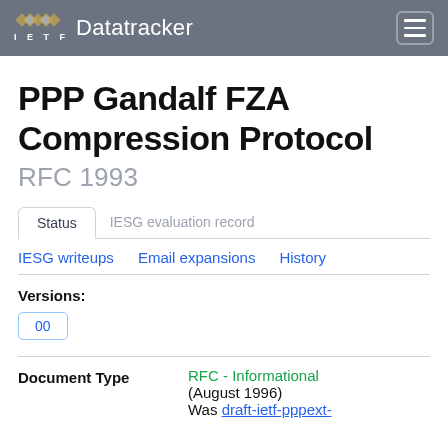IETF Datatracker
PPP Gandalf FZA Compression Protocol
RFC 1993
Status	IESG evaluation record
IESG writeups	Email expansions	History
Versions:
00
Document Type	RFC - Informational (August 1996)
Was draft-ietf-pppext-